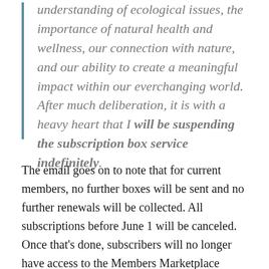understanding of ecological issues, the importance of natural health and wellness, our connection with nature, and our ability to create a meaningful impact within our everchanging world. After much deliberation, it is with a heavy heart that I will be suspending the subscription box service indefinitely.
The email goes on to note that for current members, no further boxes will be sent and no further renewals will be collected. All subscriptions before June 1 will be canceled. Once that’s done, subscribers will no longer have access to the Members Marketplace